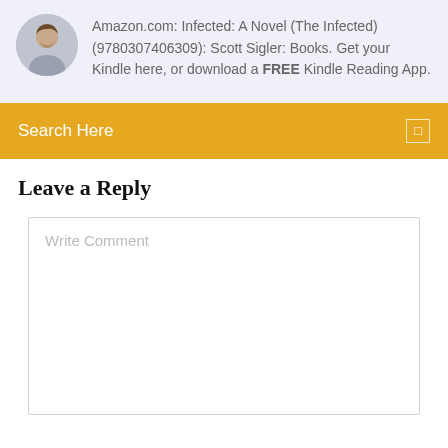[Figure (photo): Circular avatar photo of a man]
Amazon.com: Infected: A Novel (The Infected) (9780307406309): Scott Sigler: Books. Get your Kindle here, or download a FREE Kindle Reading App.
Search Here
Leave a Reply
Write Comment